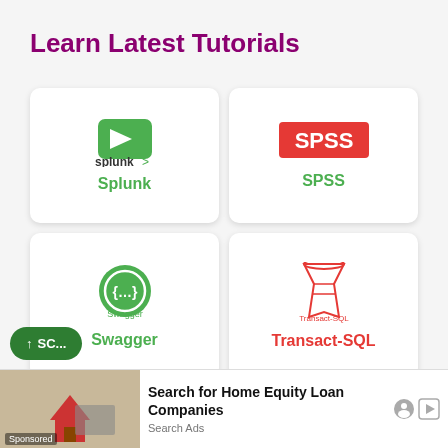Learn Latest Tutorials
[Figure (logo): Splunk logo - green arrow/chevron icon with 'splunk>' text below]
Splunk
[Figure (logo): SPSS logo - red rectangle with white 'SPSS' text]
SPSS
[Figure (logo): Swagger logo - green circle with {…} curly braces icon and 'Swagger' text]
Swagger
[Figure (logo): Transact-SQL logo - red funnel/glass icon with 'Transact-SQL' text below]
Transact-SQL
[Figure (logo): Tumblr logo - black circle with white 't']
[Figure (logo): React logo - cyan atom/react icon]
Search for Home Equity Loan Companies
Search Ads